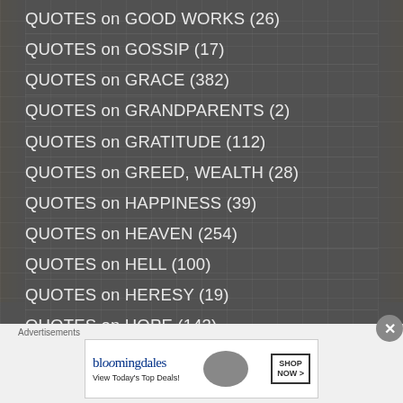QUOTES on GOOD WORKS (26)
QUOTES on GOSSIP (17)
QUOTES on GRACE (382)
QUOTES on GRANDPARENTS (2)
QUOTES on GRATITUDE (112)
QUOTES on GREED, WEALTH (28)
QUOTES on HAPPINESS (39)
QUOTES on HEAVEN (254)
QUOTES on HELL (100)
QUOTES on HERESY (19)
QUOTES on HOPE (143)
Advertisements
[Figure (other): Bloomingdale's advertisement banner with logo, 'View Today's Top Deals!' tagline, a woman in a hat, and 'SHOP NOW >' button]